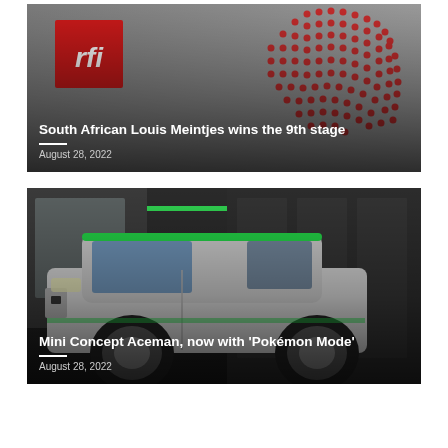[Figure (photo): RFI news card with grey background, RFI red logo top left, red dotted globe graphic top right, with headline text overlay]
South African Louis Meintjes wins the 9th stage
August 28, 2022
[Figure (photo): Mini Concept Aceman car in a showroom with dark background and green accent lighting on roof, news card style]
Mini Concept Aceman, now with 'Pokémon Mode'
August 28, 2022